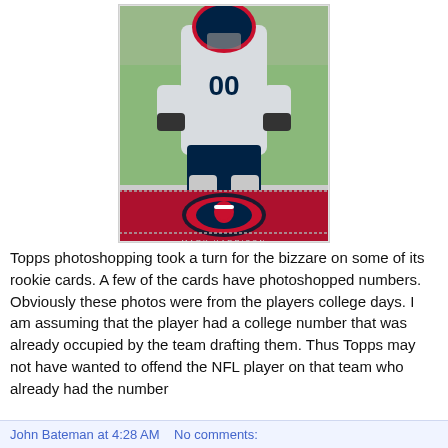[Figure (photo): A Topps NFL trading card showing a New England Patriots player wearing number 00 in a white jersey, in a running stance. The bottom of the card features the Patriots logo on a red and silver design.]
Topps photoshopping took a turn for the bizzare on some of its rookie cards. A few of the cards have photoshopped numbers. Obviously these photos were from the players college days. I am assuming that the player had a college number that was already occupied by the team drafting them. Thus Topps may not have wanted to offend the NFL player on that team who already had the number
John Bateman at 4:28 AM   No comments: